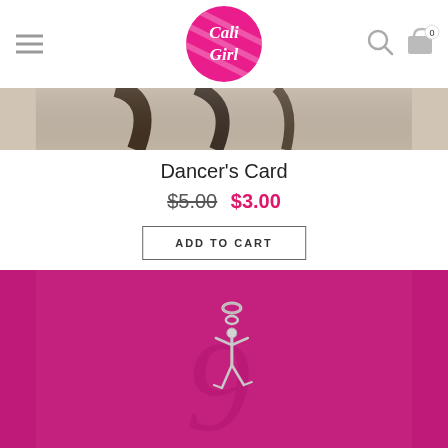[Figure (screenshot): Cali Girl website header with hamburger menu on left, pink circular Cali Girl logo in center, search and cart icons on right]
[Figure (photo): Partial top view of Dancer's Card product image showing dark brushstroke design on light background]
Dancer's Card
$5.00 $3.00
ADD TO CART
[Figure (photo): Pink background with silver dancer charm/pendant, showing a stylized dancer figure in silver metal against hot pink background]